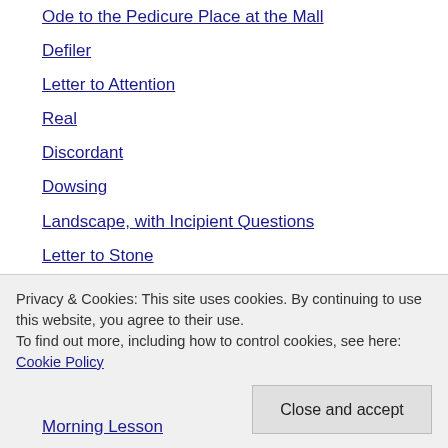Ode to the Pedicure Place at the Mall
Defiler
Letter to Attention
Real
Discordant
Dowsing
Landscape, with Incipient Questions
Letter to Stone
Orison
Milagrito: Eye of the Raven
Epithalamium
What You Don't Always See
Privacy & Cookies: This site uses cookies. By continuing to use this website, you agree to their use.
To find out more, including how to control cookies, see here: Cookie Policy
Close and accept
Morning Lesson